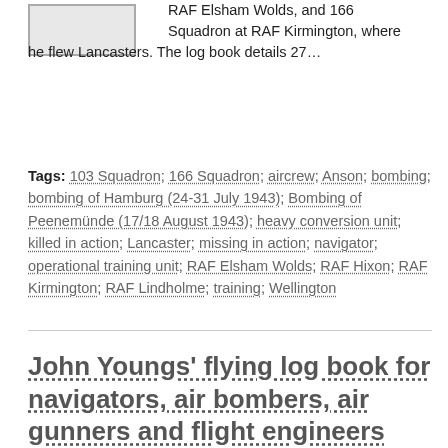RAF Elsham Wolds, and 166 Squadron at RAF Kirmington, where he flew Lancasters. The log book details 27…
Tags: 103 Squadron; 166 Squadron; aircrew; Anson; bombing; bombing of Hamburg (24-31 July 1943); Bombing of Peenemünde (17/18 August 1943); heavy conversion unit; killed in action; Lancaster; missing in action; navigator; operational training unit; RAF Elsham Wolds; RAF Hixon; RAF Kirmington; RAF Lindholme; training; Wellington
John Youngs' flying log book for navigators, air bombers, air gunners and flight engineers